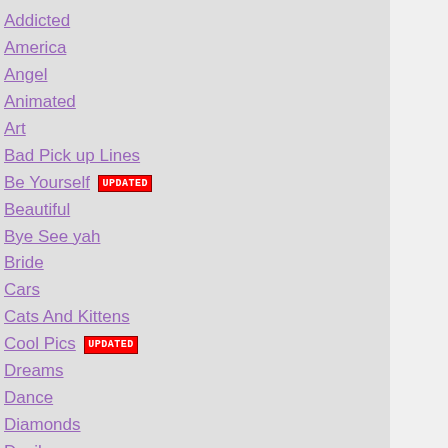Addicted
America
Angel
Animated
Art
Bad Pick up Lines
Be Yourself UPDATED
Beautiful
Bye See yah
Bride
Cars
Cats And Kittens
Cool Pics UPDATED
Dreams
Dance
Diamonds
Devil
Disney
Baby Dolls UPDATED